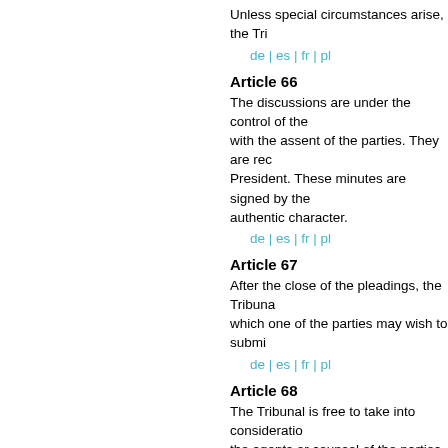Unless special circumstances arise, the Tri...
de | es | fr | pl
Article 66
The discussions are under the control of the... President. These minutes are signed by the... authentic character.
de | es | fr | pl
Article 67
After the close of the pleadings, the Tribuna... which one of the parties may wish to submi...
de | es | fr | pl
Article 68
The Tribunal is free to take into consideratio... the agents or counsel of the parties. In this... papers or documents, but is obliged to mak...
de | es | fr | pl
Article 69
The Tribunal can, besides, require from the... all necessary explanations. In case of refus...
de | es | fr | pl